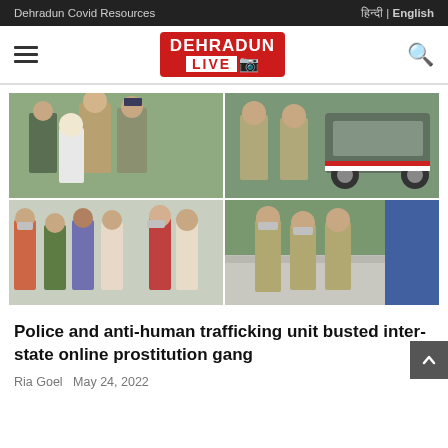Dehradun Covid Resources    हिन्दी | English
[Figure (logo): Dehradun Live logo — red background with white text DEHRADUN and white box with red LIVE text and camera icon]
[Figure (photo): Grid of four news photos showing police officers, arrested suspects, and a police vehicle related to an anti-human trafficking operation]
Police and anti-human trafficking unit busted inter-state online prostitution gang
Ria Goel  May 24, 2022